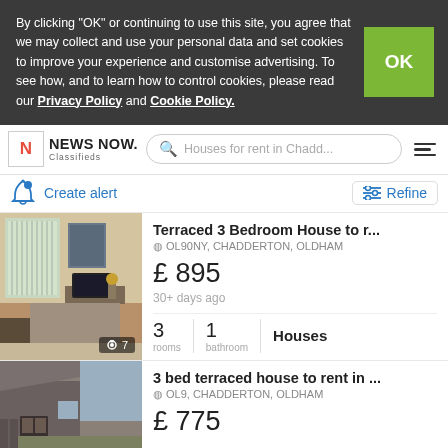By clicking "OK" or continuing to use this site, you agree that we may collect and use your personal data and set cookies to improve your experience and customise advertising. To see how, and to learn how to control cookies, please read our Privacy Policy and Cookie Policy.
NEWS NOW. Classifieds — Houses for rent in Chadd...
Create alert
Refine
Terraced 3 Bedroom House to r...
OL90NY, CHADDERTON, OLDHAM
£ 895
30+ days ago
3 rooms | 1 bathroom | Houses
3 bed terraced house to rent in ...
OL9, CHADDERTON, OLDHAM
£ 775